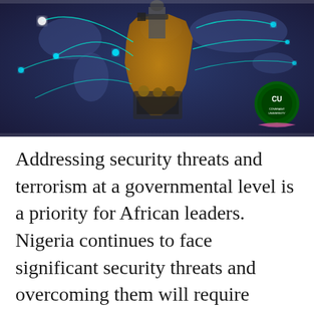[Figure (photo): Composite image showing a world map with network connection lines overlaid, a soldier with a weapon, African leaders seated at a conference, and a Covenant University logo in the lower right corner. Background is dark blue/purple with orange/brown Africa continent highlighted.]
Addressing security threats and terrorism at a governmental level is a priority for African leaders. Nigeria continues to face significant security threats and overcoming them will require collaboration from government, academia, security forces and civil society.